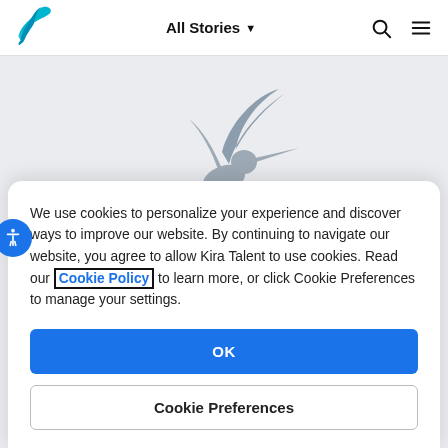All Stories ▾
[Figure (logo): Kira Talent hummingbird logo in teal/blue in the navigation bar]
[Figure (illustration): Large gray hummingbird silhouette watermark in the background area]
We use cookies to personalize your experience and discover ways to improve our website. By continuing to navigate our website, you agree to allow Kira Talent to use cookies. Read our Cookie Policy to learn more, or click Cookie Preferences to manage your settings.
OK
Cookie Preferences